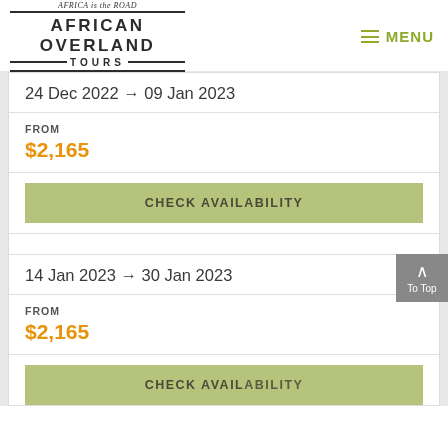[Figure (logo): African Overland Tours logo with text 'AFRICA is the ROAD' above and 'AFRICAN OVERLAND TOURS' below]
MENU
24 Dec 2022 → 09 Jan 2023
FROM
$2,165
CHECK AVAILABILITY
14 Jan 2023 → 30 Jan 2023
FROM
$2,165
CHECK AVAILABILITY